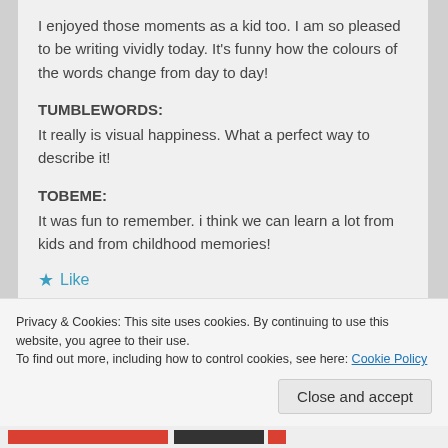I enjoyed those moments as a kid too. I am so pleased to be writing vividly today. It's funny how the colours of the words change from day to day!
TUMBLEWORDS: It really is visual happiness. What a perfect way to describe it!
TOBEME: It was fun to remember. i think we can learn a lot from kids and from childhood memories!
★ Like
Privacy & Cookies: This site uses cookies. By continuing to use this website, you agree to their use.
To find out more, including how to control cookies, see here: Cookie Policy
Close and accept